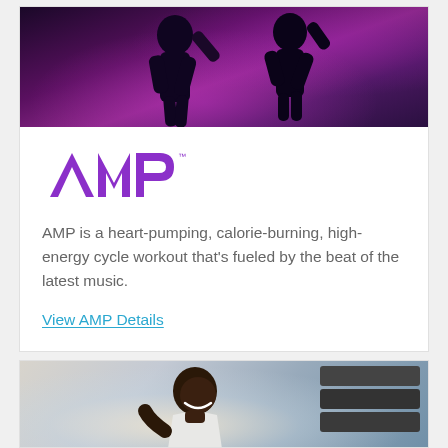[Figure (photo): People exercising on cycling bikes in a dark, moody gym with purple/pink lighting]
[Figure (logo): AMP logo in purple text]
AMP is a heart-pumping, calorie-burning, high-energy cycle workout that’s fueled by the beat of the latest music.
View AMP Details
[Figure (photo): Smiling woman in white workout top exercising on equipment, bright natural lighting]